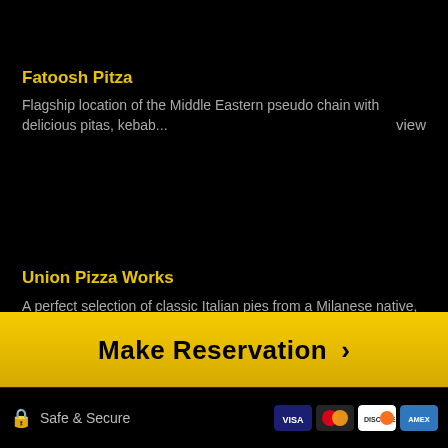Fatoosh Pitza
Flagship location of the Middle Eastern pseudo chain with delicious pitas, kebab...
view
Union Pizza Works
A perfect selection of classic Italian pies from a Milanese native, with only a ...
view
Make Reservation >
Safe & Secure